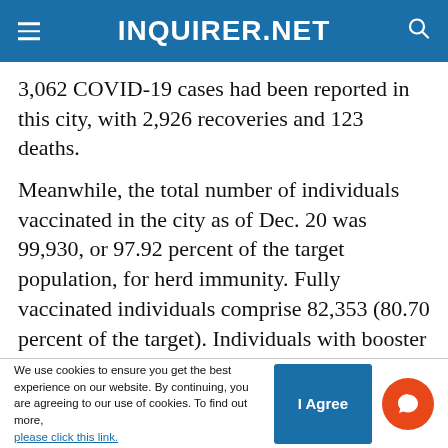INQUIRER.NET
3,062 COVID-19 cases had been reported in this city, with 2,926 recoveries and 123 deaths.
Meanwhile, the total number of individuals vaccinated in the city as of Dec. 20 was 99,930, or 97.92 percent of the target population, for herd immunity. Fully vaccinated individuals comprise 82,353 (80.70 percent of the target). Individuals with booster doses are at 1,877.
FEATURED STORIES
We use cookies to ensure you get the best experience on our website. By continuing, you are agreeing to our use of cookies. To find out more, please click this link.